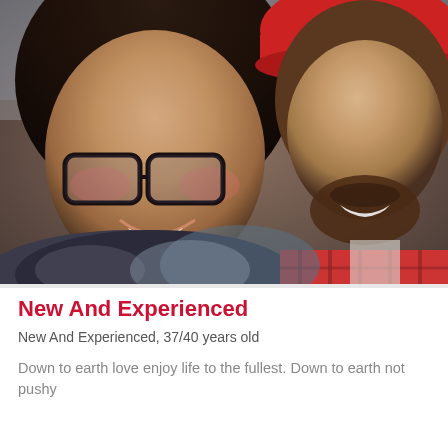[Figure (photo): A couple selfie photo showing a woman with dark curly hair and glasses on the left, smiling, wearing dark clothing, and a man on the right with a beard wearing a red hat and red plaid shirt.]
New And Experienced
New And Experienced, 37/40 years old
Down to earth love enjoy life to the fullest. Down to earth not pushy